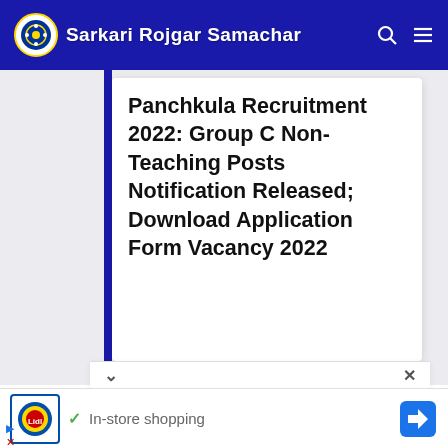Sarkari Rojgar Samachar
Panchkula Recruitment 2022: Group C Non-Teaching Posts Notification Released; Download Application Form Vacancy 2022
[Figure (screenshot): Ad banner showing Lidl logo with 'In-store shopping' text and navigation arrow icon]